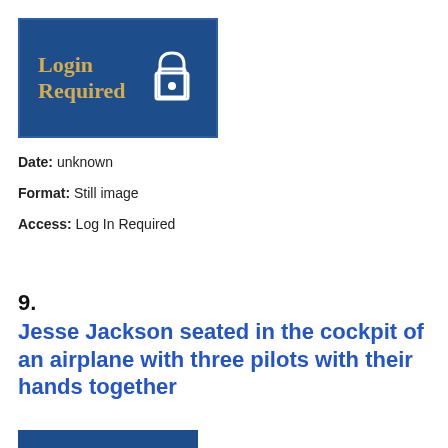[Figure (other): Login Required box with lock icon on dark blue background]
Date: unknown
Format: Still image
Access: Log In Required
9.
Jesse Jackson seated in the cockpit of an airplane with three pilots with their hands together